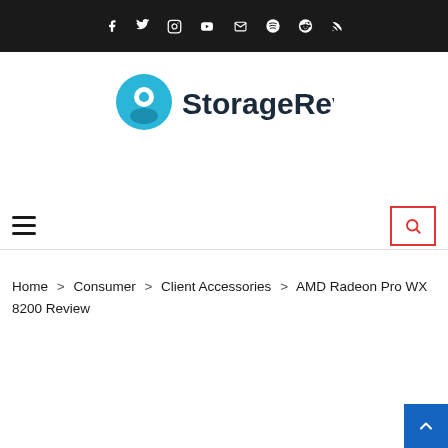Social media icon bar (Facebook, Twitter, Instagram, YouTube, Email, Spotify, Reddit, RSS)
[Figure (logo): StorageReview logo — teal circle-dot icon with dark text 'StorageReview']
Navigation bar with hamburger menu and search button
Home > Consumer > Client Accessories > AMD Radeon Pro WX 8200 Review